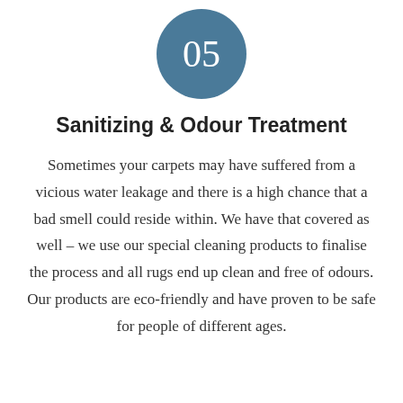[Figure (other): Dark teal/blue circle badge with the number 05 in white text]
Sanitizing & Odour Treatment
Sometimes your carpets may have suffered from a vicious water leakage and there is a high chance that a bad smell could reside within. We have that covered as well – we use our special cleaning products to finalise the process and all rugs end up clean and free of odours. Our products are eco-friendly and have proven to be safe for people of different ages.